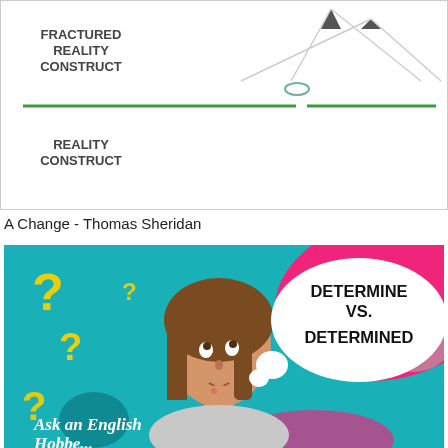[Figure (schematic): Diagram showing 'FRACTURED REALITY CONSTRUCT' label with triangular pointer shapes and a green horizontal divider line, and 'REALITY CONSTRUCT' label below]
A Change - Thomas Sheridan
[Figure (illustration): Colorful educational thumbnail with teal background, pink splashes, yellow question marks, a woman thinking, a white speech bubble saying 'DETERMINE VS. DETERMINED', and cursive text 'Ask an English' at the bottom]